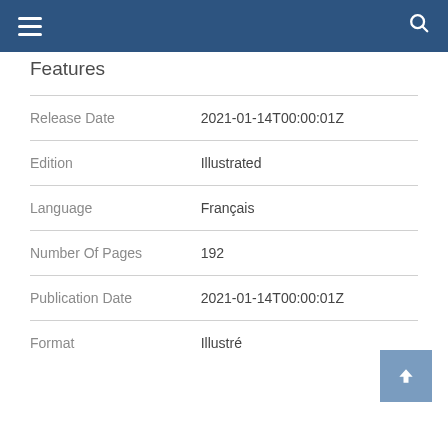Features
|  |  |
| --- | --- |
| Release Date | 2021-01-14T00:00:01Z |
| Edition | Illustrated |
| Language | Français |
| Number Of Pages | 192 |
| Publication Date | 2021-01-14T00:00:01Z |
| Format | Illustré |